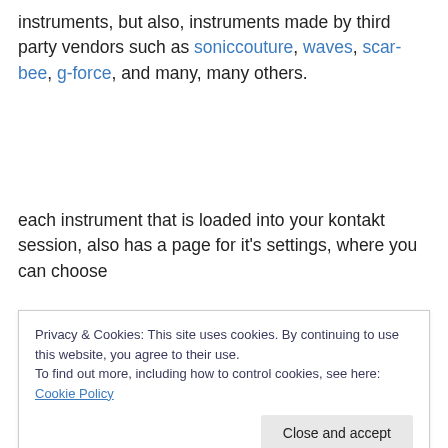instruments, but also, instruments made by third party vendors such as soniccouture, waves, scar-bee, g-force, and many, many others.
each instrument that is loaded into your kontakt session, also has a page for it's settings, where you can choose
Privacy & Cookies: This site uses cookies. By continuing to use this website, you agree to their use.
To find out more, including how to control cookies, see here: Cookie Policy
Close and accept
complex presets, that contain your favourite instruments,